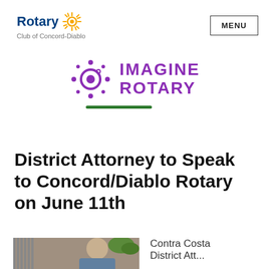[Figure (logo): Rotary Club of Concord-Diablo logo with gear icon and text]
[Figure (logo): Imagine Rotary logo with purple sun/circle icon and text in purple, green underline bar]
District Attorney to Speak to Concord/Diablo Rotary on June 11th
[Figure (photo): Photo of a person (District Attorney) partially visible at bottom of page]
Contra Costa District Att...